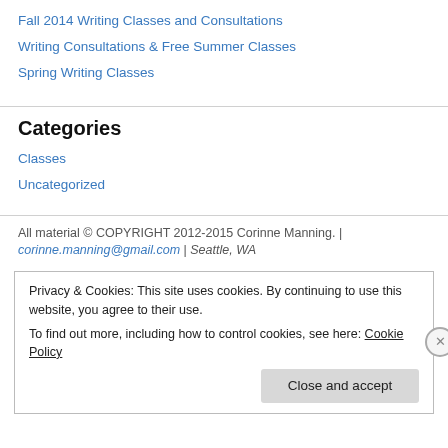Fall 2014 Writing Classes and Consultations
Writing Consultations & Free Summer Classes
Spring Writing Classes
Categories
Classes
Uncategorized
All material © COPYRIGHT 2012-2015 Corinne Manning. | corinne.manning@gmail.com | Seattle, WA
Privacy & Cookies: This site uses cookies. By continuing to use this website, you agree to their use. To find out more, including how to control cookies, see here: Cookie Policy